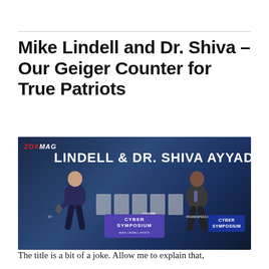Mike Lindell and Dr. Shiva – Our Geiger Counter for True Patriots
[Figure (photo): Photo of Mike Lindell and Dr. Shiva Ayyadurai on stage at the Cyber Symposium event, with a large backdrop reading 'LINDELL & DR. SHIVA AYYADURAI', Frank Speech logos, and a purple podium labeled 'CYBER SYMPOSIUM'. A ZOXMAG watermark appears in the top-left corner.]
The title is a bit of a joke. Allow me to explain that,